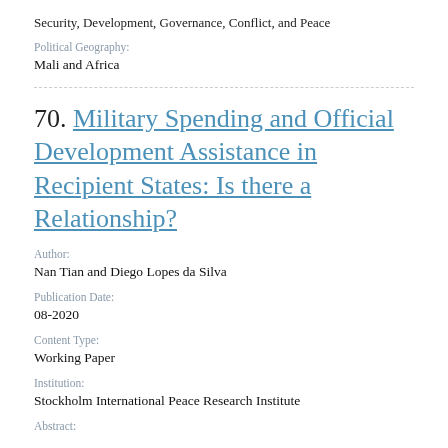Security, Development, Governance, Conflict, and Peace
Political Geography:
Mali and Africa
70. Military Spending and Official Development Assistance in Recipient States: Is there a Relationship?
Author:
Nan Tian and Diego Lopes da Silva
Publication Date:
08-2020
Content Type:
Working Paper
Institution:
Stockholm International Peace Research Institute
Abstract: